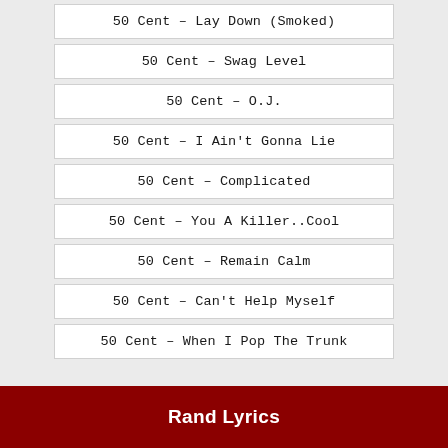50 Cent – Lay Down (Smoked)
50 Cent – Swag Level
50 Cent – O.J.
50 Cent – I Ain't Gonna Lie
50 Cent – Complicated
50 Cent – You A Killer..Cool
50 Cent – Remain Calm
50 Cent – Can't Help Myself
50 Cent – When I Pop The Trunk
Rand Lyrics